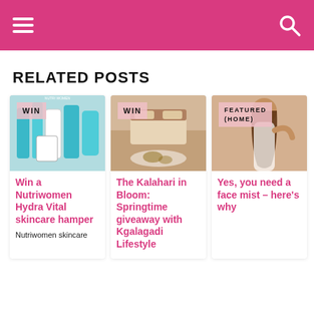Navigation header with hamburger menu and search icon
RELATED POSTS
[Figure (photo): Product photo of Nutriwomen Hydra Vital skincare bottles and tubes with WIN badge]
Win a Nutriwomen Hydra Vital skincare hamper
Nutriwomen skincare
[Figure (photo): Photo of a bedroom interior with cowhide rug with WIN badge]
The Kalahari in Bloom: Springtime giveaway with Kgalagadi Lifestyle
[Figure (photo): Photo of a woman with long hair with FEATURED (HOME) badge]
Yes, you need a face mist – here's why